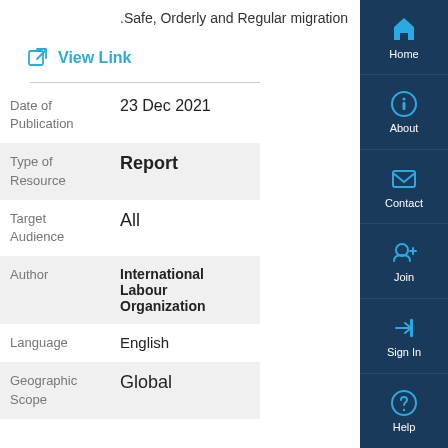.Safe, Orderly and Regular migration
View Link
| Field | Value |
| --- | --- |
| Date of Publication | 23 Dec 2021 |
| Type of Resource | Report |
| Target Audience | All |
| Author | International Labour Organization |
| Language | English |
| Geographic Scope | Global |